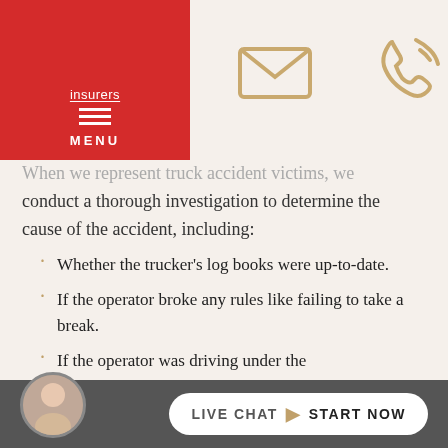insurers MENU
[Figure (illustration): Email envelope icon and phone with signal waves icon, tan/gold color, on cream background]
When we represent truck accident victims, we conduct a thorough investigation to determine the cause of the accident, including:
Whether the trucker's log books were up-to-date.
If the operator broke any rules like failing to take a break.
If the operator was driving under the
LIVE CHAT START NOW